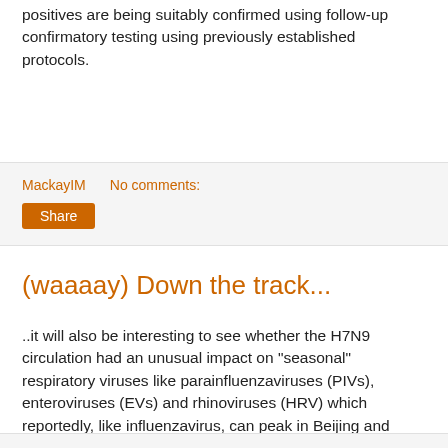positives are being suitably confirmed using follow-up confirmatory testing using previously established protocols.
MackayIM   No comments:
Share
(waaaay) Down the track...
..it will also be interesting to see whether the H7N9 circulation had an unusual impact on "seasonal" respiratory viruses like parainfluenzaviruses (PIVs), enteroviruses (EVs) and rhinoviruses (HRV) which reportedly, like influenzavirus, can peak in Beijing and Shanghai around May (Ren et al., Clin Microbiol Infect 2009;p1146-; Wang et al. J Clin Virol 2010;p211-)